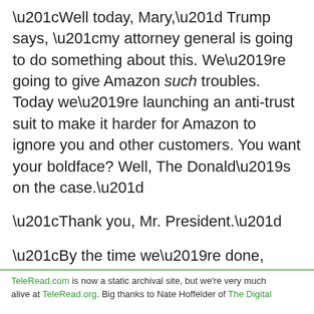“Well today, Mary,” Trump says, “my attorney general is going to do something about this. We’re going to give Amazon such troubles. Today we’re launching an anti-trust suit to make it harder for Amazon to ignore you and other customers. You want your boldface? Well, The Donald’s on the case.”
“Thank you, Mr. President.”
“By the time we’re done, there might not even be an Amazon—all the trouble they’re in for. But don’t worry, Mary. You’ll be able to read every book you
TeleRead.com is now a static archival site, but we're very much alive at TeleRead.org. Big thanks to Nate Hoffelder of The Digital...